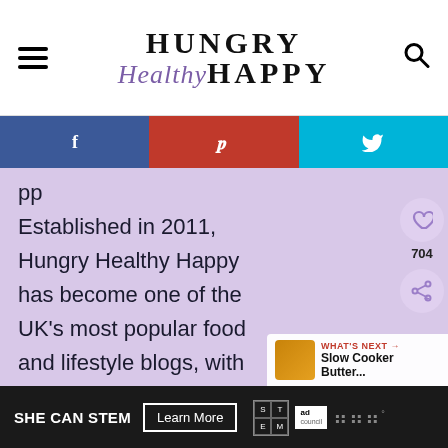HUNGRY Healthy HAPPY
[Figure (infographic): Social share bar with Facebook, Pinterest, and Twitter buttons]
Established in 2011, Hungry Healthy Happy has become one of the UK's most popular food and lifestyle blogs, with two successful recipe books published.
SHE CAN STEM  Learn More  [ad council logos]